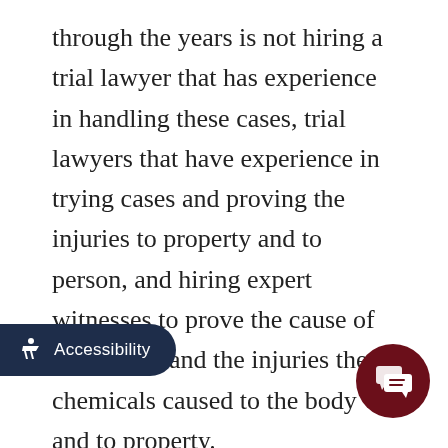through the years is not hiring a trial lawyer that has experience in handling these cases, trial lawyers that have experience in trying cases and proving the injuries to property and to person, and hiring expert witnesses to prove the cause of the release and the injuries these chemicals caused to the body and to property.

If you've been injured or been a chemical release, p give us a call. We'd be happy to help